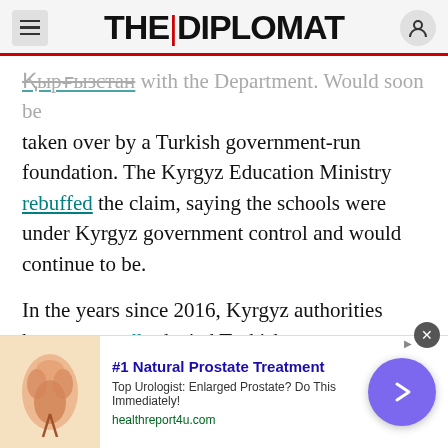THE | DIPLOMAT
[link] with the Department. Would soon be taken over by a Turkish government-run foundation. The Kyrgyz Education Ministry rebuffed the claim, saying the schools were under Kyrgyz government control and would continue to be.
In the years since 2016, Kyrgyz authorities have reportedly denied Turkish requests to extradite Inandi. Inandi, who has lived in Kyrgyzstan since 1992, has been a Kyrgyz citizen since 2012. In 2019, the Kyrgyz Prosecutor-General initially approved a request from Turkey to extradite two other Sapat employees, Senan Yilmaz and Sanjar Abdulhakim,
[Figure (other): Advertisement banner: #1 Natural Prostate Treatment. Top Urologist: Enlarged Prostate? Do This Immediately! healthreport4u.com. Shows anatomical illustration and purple arrow button.]